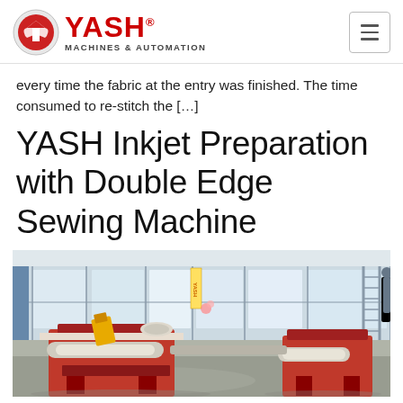YASH MACHINES & AUTOMATION
every time the fabric at the entry was finished. The time consumed to re-stitch the [...]
YASH Inkjet Preparation with Double Edge Sewing Machine
[Figure (photo): Industrial photo of a YASH inkjet preparation machine with double edge sewing machine in a factory setting. Shows large red machine units with rollers and a yellow clamp, factory floor with window grid walls in background.]